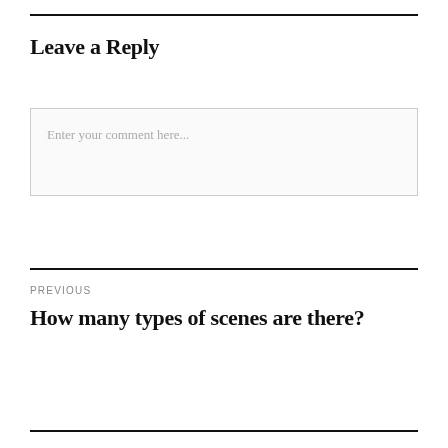Leave a Reply
Enter your comment here...
PREVIOUS
How many types of scenes are there?